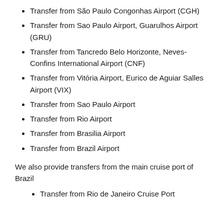Transfer from São Paulo Congonhas Airport (CGH)
Transfer from Sao Paulo Airport, Guarulhos Airport (GRU)
Transfer from Tancredo Belo Horizonte, Neves-Confins International Airport (CNF)
Transfer from Vitória Airport, Eurico de Aguiar Salles Airport (VIX)
Transfer from Sao Paulo Airport
Transfer from Rio Airport
Transfer from Brasilia Airport
Transfer from Brazil Airport
We also provide transfers from the main cruise port of Brazil
Transfer from Rio de Janeiro Cruise Port